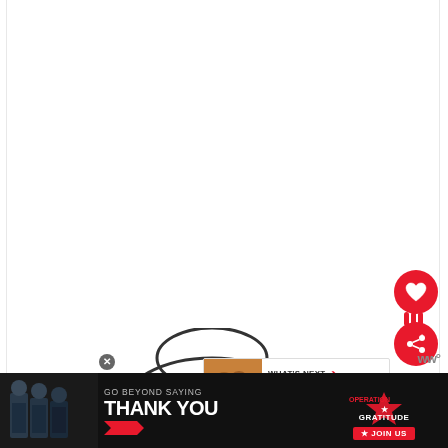[Figure (illustration): White content area with a cartoon chef/cook illustration visible at the bottom — a round head with chef hat outline drawn in simple black line art style]
[Figure (infographic): Red circular heart/like button with white heart icon]
[Figure (infographic): Red circular share button with white share icon (dots connected)]
WHAT'S NEXT → How To Reheat...
[Figure (photo): Thumbnail image of baked goods/cookies in brown tones]
[Figure (infographic): Dark bottom banner advertisement: GO BEYOND SAYING THANK YOU — Operation Gratitude JOIN US, with red chevron graphic and military personnel photo on left]
ww°